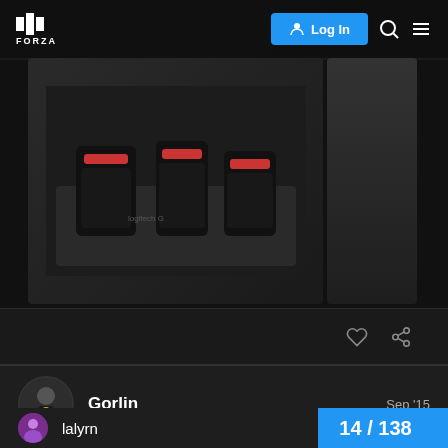FORZA | Log In
[Figure (photo): Photo of racing pedals (Logitech) on a floor mat, dark background. Two images side by side.]
Gorlin  Sep '15
mine is being delivered tomorrow together with the playseat and the shifting equipment. Am a Little bit angry about all that braking problems... but let´s see
lalyrn
14 / 138